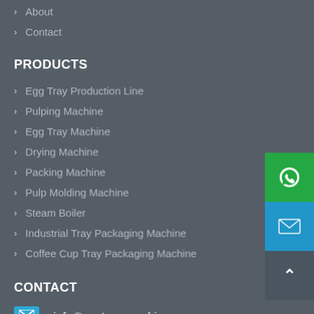About
Contact
PRODUCTS
Egg Tray Production Line
Pulping Machine
Egg Tray Machine
Drying Machine
Packing Machine
Pulp Molding Machine
Steam Boiler
Industrial Tray Packaging Machine
Coffee Cup Tray Packaging Machine
CONTACT
info@eggtraysmachine.com